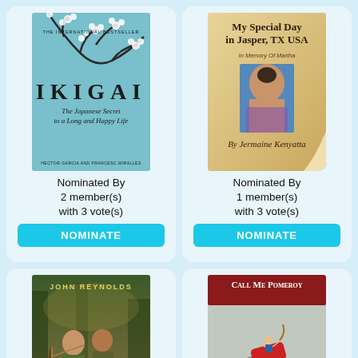[Figure (illustration): Book cover: IKIGAI – The Japanese Secret to a Long and Happy Life, with cherry blossom branches on a light blue background]
Nominated By
2 member(s)
with 3 vote(s)
NOMINATE
[Figure (illustration): Book cover: My Special Day in Jasper, TX USA – In Memory Of Martha, By Jermaine Kenyatta, with a woman's photo on a parchment-style background]
Nominated By
1 member(s)
with 3 vote(s)
NOMINATE
[Figure (illustration): Book cover: Robyn Hood by John Reynolds, showing two young women in a forest, one drawing a bow]
[Figure (illustration): Book cover: Call Me Pomeroy, dark red title bar at top, illustration of a figure riding a large red rocket/dynamite on a stone ball]